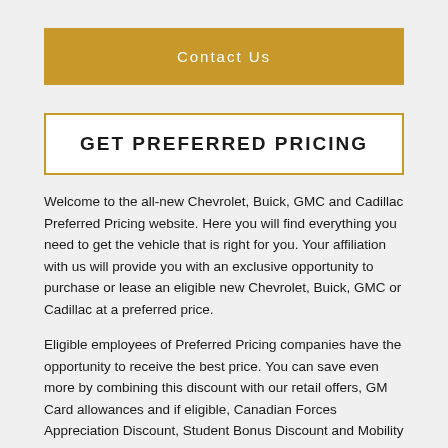Contact Us
GET PREFERRED PRICING
Welcome to the all-new Chevrolet, Buick, GMC and Cadillac Preferred Pricing website. Here you will find everything you need to get the vehicle that is right for you. Your affiliation with us will provide you with an exclusive opportunity to purchase or lease an eligible new Chevrolet, Buick, GMC or Cadillac at a preferred price.
Eligible employees of Preferred Pricing companies have the opportunity to receive the best price. You can save even more by combining this discount with our retail offers, GM Card allowances and if eligible, Canadian Forces Appreciation Discount, Student Bonus Discount and Mobility Program.
It's easy to take advantage of Preferred Pricing. Just